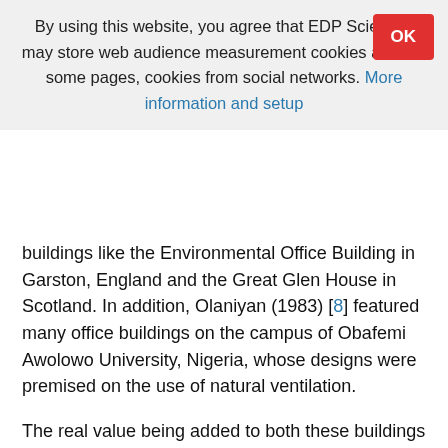By using this website, you agree that EDP Sciences may store web audience measurement cookies and, on some pages, cookies from social networks. More information and setup
buildings like the Environmental Office Building in Garston, England and the Great Glen House in Scotland. In addition, Olaniyan (1983) [8] featured many office buildings on the campus of Obafemi Awolowo University, Nigeria, whose designs were premised on the use of natural ventilation.
The real value being added to both these buildings and the built environment in general is, however, being called to question. It has been observed that there may be an undesirable disconnect between the intended as well as the actual performance and use of these free running buildings. Tuohy and Murphy [7] observed that advanced buildings do not achieve their intended performance especially in relation to ventilation systems. Liping and Hien [6] corroborated this by reporting an increase in the use of mechanical ventilation